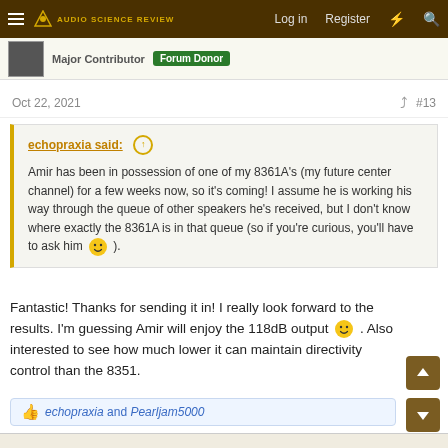Audio Science Review — Log in  Register
Major Contributor  Forum Donor
Oct 22, 2021  #13
echopraxia said: ↑
Amir has been in possession of one of my 8361A's (my future center channel) for a few weeks now, so it's coming! I assume he is working his way through the queue of other speakers he's received, but I don't know where exactly the 8361A is in that queue (so if you're curious, you'll have to ask him 🙂 ).
Fantastic! Thanks for sending it in! I really look forward to the results. I'm guessing Amir will enjoy the 118dB output 🙂. Also interested to see how much lower it can maintain directivity control than the 8351.
echopraxia and Pearljam5000